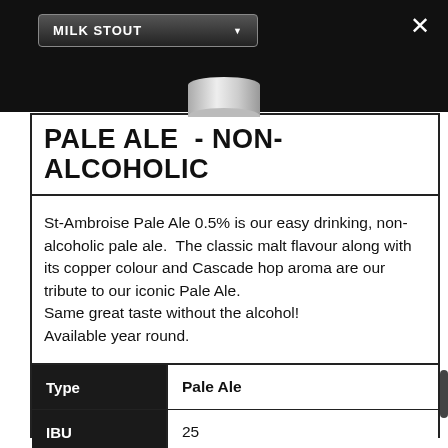MILK STOUT
PALE ALE - NON-ALCOHOLIC
St-Ambroise Pale Ale 0.5% is our easy drinking, non-alcoholic pale ale.  The classic malt flavour along with its copper colour and Cascade hop aroma are our tribute to our iconic Pale Ale.
Same great taste without the alcohol!
Available year round.
| Type |  |
| --- | --- |
| Type | Pale Ale |
| IBU | 25 |
| Serve | 8 °C – 10 °C |